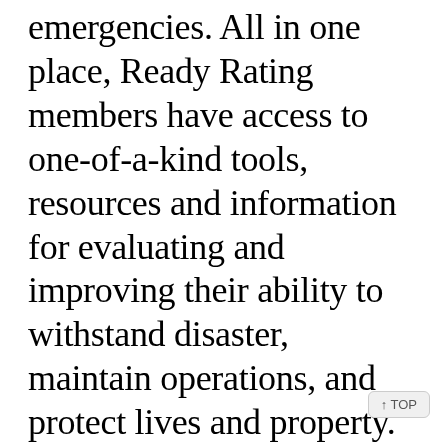emergencies. All in one place, Ready Rating members have access to one-of-a-kind tools, resources and information for evaluating and improving their ability to withstand disaster, maintain operations, and protect lives and property. Whether you are taking your first steps or have a fully-functioning emergency management program, the Ready Rating program can help you achieve higher level of preparedness.